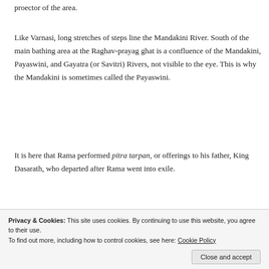proector of the area.
Like Varnasi, long stretches of steps line the Mandakini River. South of the main bathing area at the Raghav-prayag ghat is a confluence of the Mandakini, Payaswini, and Gayatra (or Savitri) Rivers, not visible to the eye. This is why the Mandakini is sometimes called the Payaswini.
It is here that Rama performed pitra tarpan, or offerings to his father, King Dasarath, who departed after Rama went into exile.
[Figure (photo): A landscape photo showing a tree line silhouette against a hazy sky, partially visible at the bottom of the page before the cookie banner overlays it.]
Privacy & Cookies: This site uses cookies. By continuing to use this website, you agree to their use.
To find out more, including how to control cookies, see here: Cookie Policy
Close and accept